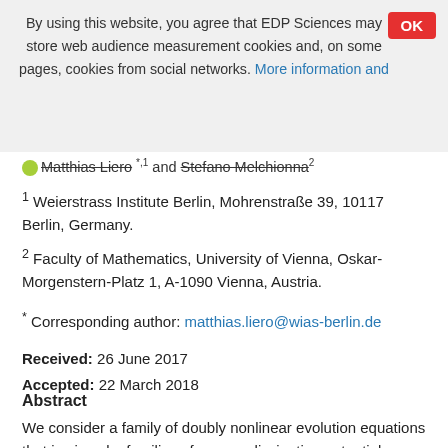By using this website, you agree that EDP Sciences may store web audience measurement cookies and, on some pages, cookies from social networks. More information and
Matthias Liero and Stefano Melchionna
1 Weierstrass Institute Berlin, Mohrenstraße 39, 10117 Berlin, Germany.
2 Faculty of Mathematics, University of Vienna, Oskar-Morgenstern-Platz 1, A-1090 Vienna, Austria.
* Corresponding author: matthias.liero@wias-berlin.de
Received: 26 June 2017
Accepted: 22 March 2018
Abstract
We consider a family of doubly nonlinear evolution equations that is given by families of convex dissipation potentials,